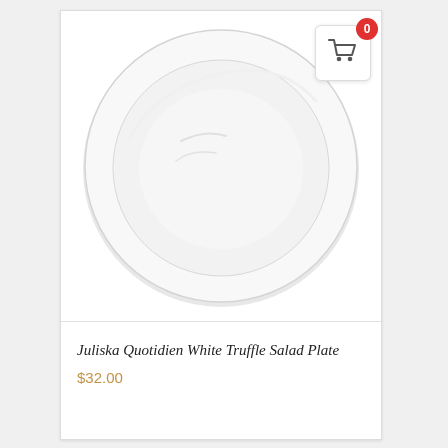[Figure (photo): A white round salad plate photographed from above on a white background, showing a wide rim and shallow center bowl with subtle rim detail.]
Juliska Quotidien White Truffle Salad Plate
$32.00